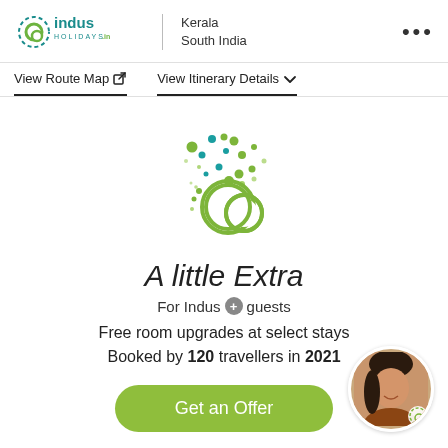[Figure (logo): Indus Holidays logo with Kerala South India text and three-dot menu]
View Route Map  View Itinerary Details
[Figure (logo): Indus Holidays animated logo graphic with dots and green rings]
A little Extra
For Indus+ guests
Free room upgrades at select stays
Booked by 120 travellers in 2021
[Figure (photo): Circular avatar photo of a woman with Indus logo watermark, and Get an Offer green button]